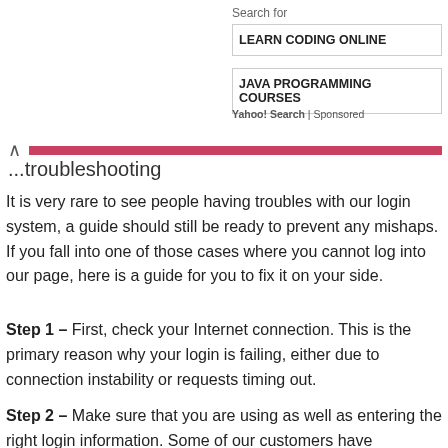Search for
LEARN CODING ONLINE
JAVA PROGRAMMING COURSES
Yahoo! Search | Sponsored
Troubleshooting
It is very rare to see people having troubles with our login system, a guide should still be ready to prevent any mishaps. If you fall into one of those cases where you cannot log into our page, here is a guide for you to fix it on your side.
Step 1 – First, check your Internet connection. This is the primary reason why your login is failing, either due to connection instability or requests timing out.
Step 2 – Make sure that you are using as well as entering the right login information. Some of our customers have